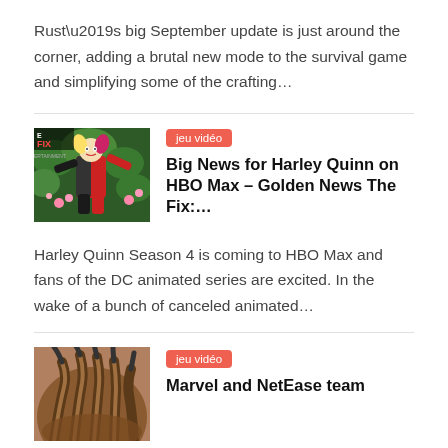Rust’s big September update is just around the corner, adding a brutal new mode to the survival game and simplifying some of the crafting…
[Figure (photo): Harley Quinn animated character in colorful action pose with The Fix branding]
jeu vidéo
Big News for Harley Quinn on HBO Max – Golden News The Fix:…
Harley Quinn Season 4 is coming to HBO Max and fans of the DC animated series are excited. In the wake of a bunch of canceled animated…
[Figure (photo): Furry animal claw or creature close-up photo]
jeu vidéo
Marvel and NetEase team